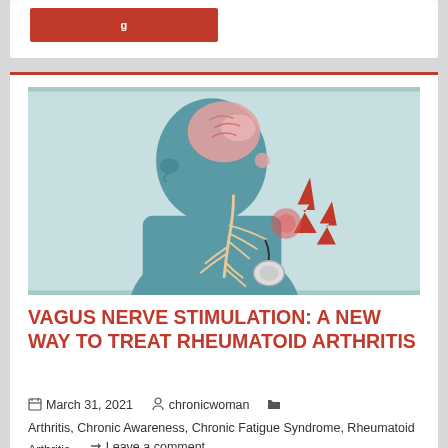[Figure (illustration): Medical illustration showing a side profile of a human head and body with the vagus nerve pathway highlighted, including the brain, spine, and a stimulator device near the chest, with red lightning bolt symbols indicating nerve stimulation pain points at the neck/shoulder area.]
VAGUS NERVE STIMULATION: A NEW WAY TO TREAT RHEUMATOID ARTHRITIS
March 31, 2021   chronicwoman   Arthritis, Chronic Awareness, Chronic Fatigue Syndrome, Rheumatoid Arthritis   Leave a comment